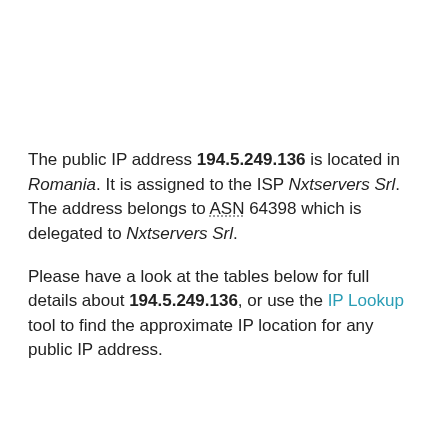The public IP address 194.5.249.136 is located in Romania. It is assigned to the ISP Nxtservers Srl. The address belongs to ASN 64398 which is delegated to Nxtservers Srl.
Please have a look at the tables below for full details about 194.5.249.136, or use the IP Lookup tool to find the approximate IP location for any public IP address.